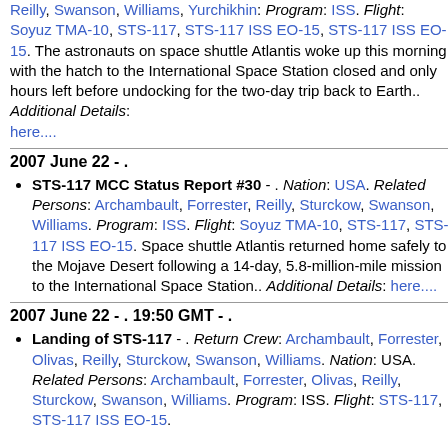Reilly, Swanson, Williams, Yurchikhin. Program: ISS. Flight: Soyuz TMA-10, STS-117, STS-117 ISS EO-15, STS-117 ISS EO-15. The astronauts on space shuttle Atlantis woke up this morning with the hatch to the International Space Station closed and only hours left before undocking for the two-day trip back to Earth.. Additional Details: here....
2007 June 22 - .
STS-117 MCC Status Report #30 - . Nation: USA. Related Persons: Archambault, Forrester, Reilly, Sturckow, Swanson, Williams. Program: ISS. Flight: Soyuz TMA-10, STS-117, STS-117 ISS EO-15. Space shuttle Atlantis returned home safely to the Mojave Desert following a 14-day, 5.8-million-mile mission to the International Space Station.. Additional Details: here....
2007 June 22 - . 19:50 GMT - .
Landing of STS-117 - . Return Crew: Archambault, Forrester, Olivas, Reilly, Sturckow, Swanson, Williams. Nation: USA. Related Persons: Archambault, Forrester, Olivas, Reilly, Sturckow, Swanson, Williams. Program: ISS. Flight: STS-117, STS-117 ISS EO-15.